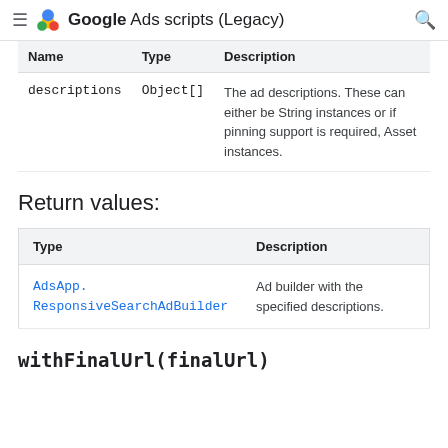≡ Google Ads scripts (Legacy) 🔍
| Name | Type | Description |
| --- | --- | --- |
| descriptions | Object[] | The ad descriptions. These can either be String instances or if pinning support is required, Asset instances. |
Return values:
| Type | Description |
| --- | --- |
| AdsApp.ResponsiveSearchAdBuilder | Ad builder with the specified descriptions. |
withFinalUrl(finalUrl)